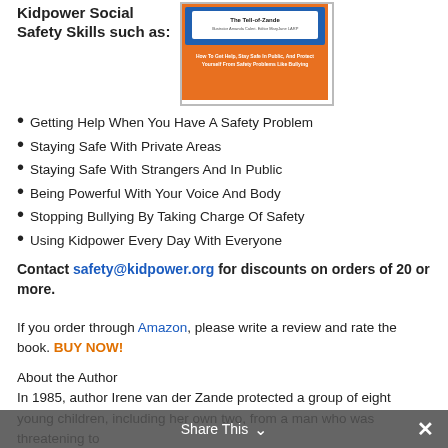Kidpower Social Safety Skills such as:
[Figure (illustration): Book cover for Kidpower Social Safety Skills book with orange and blue design, showing 'How To Get Help, Stay Safe In Public, And Protect Yourself From Safety Problems Like Bullying']
Getting Help When You Have A Safety Problem
Staying Safe With Private Areas
Staying Safe With Strangers And In Public
Being Powerful With Your Voice And Body
Stopping Bullying By Taking Charge Of Safety
Using Kidpower Every Day With Everyone
Contact safety@kidpower.org for discounts on orders of 20 or more.
If you order through Amazon, please write a review and rate the book. BUY NOW!
About the Author
In 1985, author Irene van der Zande protected a group of eight young children, including her own two, from a man who was threatening to
Share This ✓ ×